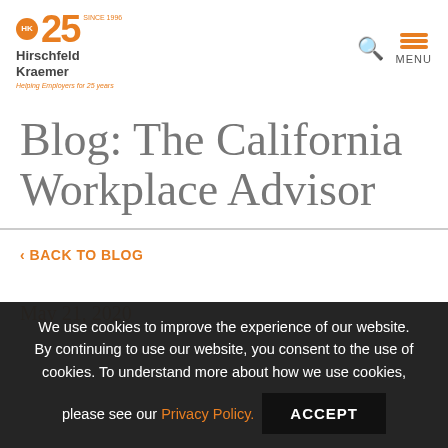[Figure (logo): Hirschfeld Kraemer 25th anniversary logo with orange circular HK emblem and large orange '25' numeral, firm name in dark gray, and italic orange tagline]
Blog: The California Workplace Advisor
‹ BACK TO BLOG
May 21, 2020
We use cookies to improve the experience of our website. By continuing to use our website, you consent to the use of cookies. To understand more about how we use cookies, please see our Privacy Policy.  ACCEPT